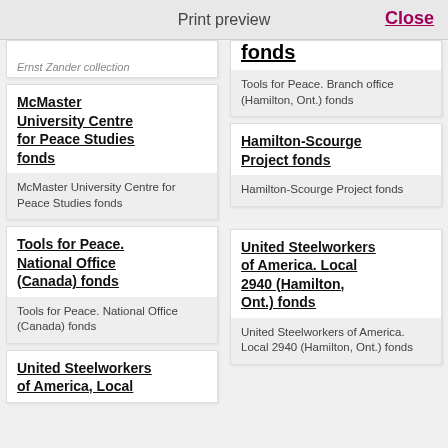Print preview   Close
Ernst Zander collection
fonds
Tools for Peace. Branch office (Hamilton, Ont.) fonds
McMaster University Centre for Peace Studies fonds
McMaster University Centre for Peace Studies fonds
Hamilton-Scourge Project fonds
Hamilton-Scourge Project fonds
Tools for Peace. National Office (Canada) fonds
Tools for Peace. National Office (Canada) fonds
United Steelworkers of America. Local 2940 (Hamilton, Ont.) fonds
United Steelworkers of America. Local 2940 (Hamilton, Ont.) fonds
United Steelworkers of America, Local